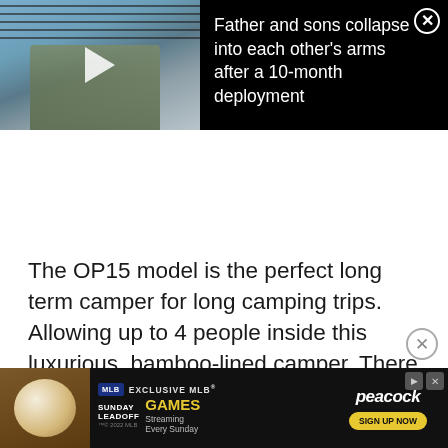[Figure (screenshot): Video thumbnail showing a military reunion scene with a play button overlay, black background with white text headline about father and sons embracing after deployment]
Father and sons collapse into each other's arms after a 10-month deployment
The OP15 model is the perfect long term camper for long camping trips. Allowing up to 4 people inside this luxurious, bamboo-lined camper. There is no inflation needed. Providing a solid and durable shell with all of the storage as well as space you could need. Furthermore, this design adopts multiple features from c... nce enjoy...
[Figure (screenshot): Advertisement banner for MLB Sunday Leadoff on Peacock featuring a baseball, exclusive MLB games streaming every Sunday, with sign up now button]